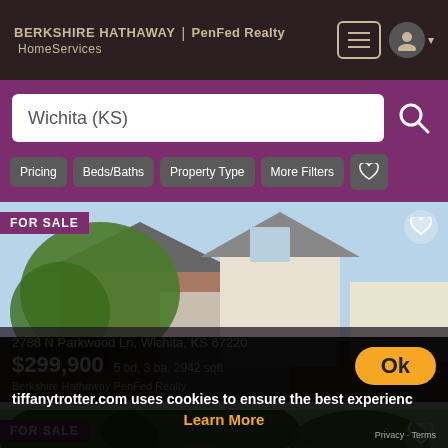BERKSHIRE HATHAWAY | PenFed Realty HomeServices
Wichita (KS)
Pricing
Beds/Baths
Property Type
More Filters
[Figure (photo): Residential home for sale at 2788 N Parkwood Ln, Wichita, KS 67220. Brick and siding two-car garage home with large green tree in front yard.]
FOR SALE
2788 N Parkwood Ln, Wichita, KS 67220
$299,900 5 bd, 3 ba, 2942 sqft
Berkshire Hathaway PenFed Realty
[Figure (photo): Second residential home for sale listing, partial view showing roofline and trees.]
FOR SALE
tiffanytrotter.com uses cookies to ensure the best experience
Ok
Learn More
Privacy · Terms